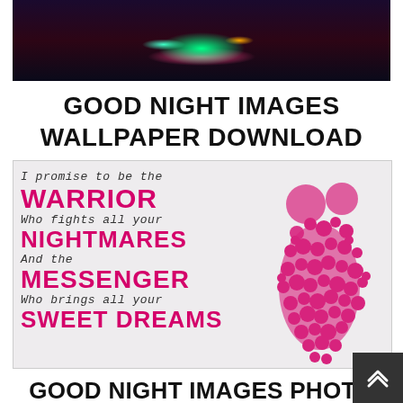[Figure (photo): Dark atmospheric image with green and pink neon glowing light effects on dark purple/black background]
GOOD NIGHT IMAGES WALLPAPER DOWNLOAD
[Figure (illustration): White/light grey background image with pink text reading 'I promise to be the WARRIOR Who fights all your NIGHTMARES And the MESSENGER Who brings all your SWEET DREAMS' alongside a pink heart-patterned couple silhouette on the right]
GOOD NIGHT IMAGES PHOTO IN HD